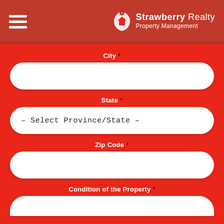[Figure (logo): Strawberry Realty Property Management logo with strawberry icon on red header background, and hamburger menu icon on the left]
City *
(empty city input field)
State *
– Select Province/State –
Zip Code *
(empty zip code input field)
Condition of the Property *
(partially visible empty input field)